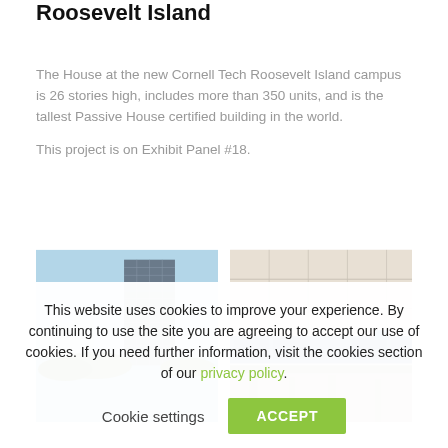Roosevelt Island
The House at the new Cornell Tech Roosevelt Island campus is 26 stories high, includes more than 350 units, and is the tallest Passive House certified building in the world.
This project is on Exhibit Panel #18.
[Figure (photo): Exterior photo of a tall modern building on Roosevelt Island with Manhattan skyline and water in background]
[Figure (photo): Interior construction photo showing ceiling with blue insulation panels and mechanical systems]
This website uses cookies to improve your experience. By continuing to use the site you are agreeing to accept our use of cookies. If you need further information, visit the cookies section of our privacy policy.